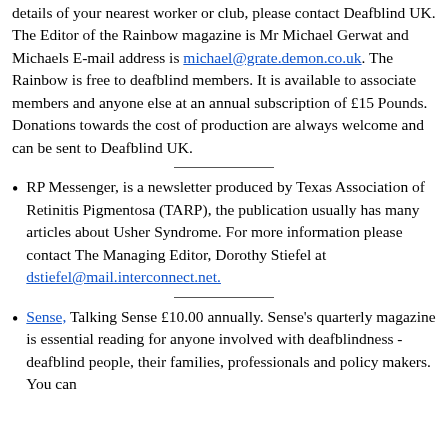details of your nearest worker or club, please contact Deafblind UK. The Editor of the Rainbow magazine is Mr Michael Gerwat and Michaels E-mail address is michael@grate.demon.co.uk. The Rainbow is free to deafblind members. It is available to associate members and anyone else at an annual subscription of £15 Pounds. Donations towards the cost of production are always welcome and can be sent to Deafblind UK.
RP Messenger, is a newsletter produced by Texas Association of Retinitis Pigmentosa (TARP), the publication usually has many articles about Usher Syndrome. For more information please contact The Managing Editor, Dorothy Stiefel at dstiefel@mail.interconnect.net.
Sense, Talking Sense £10.00 annually. Sense's quarterly magazine is essential reading for anyone involved with deafblindness - deafblind people, their families, professionals and policy makers. You can